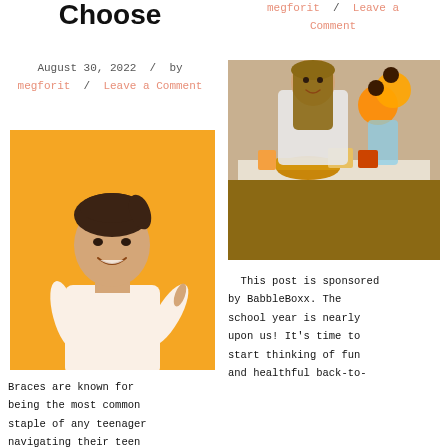Choose
August 30, 2022  /  by megforit  /  Leave a Comment
[Figure (photo): A teenage girl in a white turtleneck sweater smiling against a yellow background, pointing with one finger.]
Braces are known for being the most common staple of any teenager navigating their teen years. However, due to
megforit  /  Leave a Comment
[Figure (photo): A woman smiling at a table with sunflowers, a pie, and various food products spread out in front of her.]
This post is sponsored by BabbleBoxx. The school year is nearly upon us! It's time to start thinking of fun and healthful back-to-